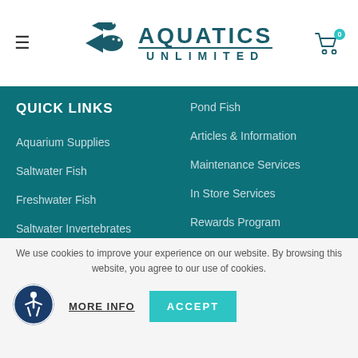[Figure (logo): Aquatics Unlimited logo with fish icons and teal text]
QUICK LINKS
Aquarium Supplies
Saltwater Fish
Freshwater Fish
Saltwater Invertebrates
Freshwater Invertebrates
Corals
Pond Fish
Articles & Information
Maintenance Services
In Store Services
Rewards Program
Shipping & Returns
Guarantees & Warranty
We use cookies to improve your experience on our website. By browsing this website, you agree to our use of cookies.
MORE INFO
ACCEPT